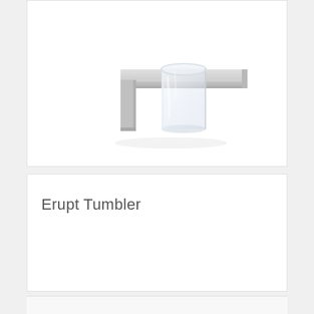[Figure (photo): Product photo of the Erupt Tumbler — a modern bathroom tumbler/toothbrush holder consisting of a flat square brushed stainless steel shelf bracket with a clear glass cup sitting in a rounded cutout on top.]
Erupt Tumbler